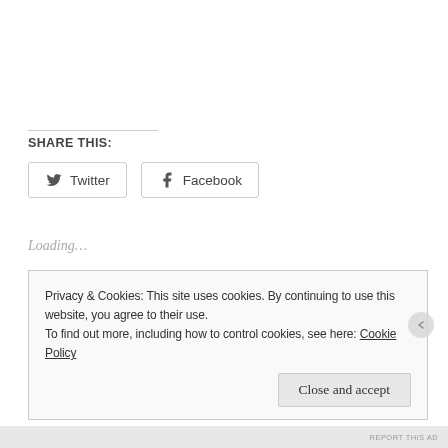SHARE THIS:
Twitter  Facebook
Loading…
Privacy & Cookies: This site uses cookies. By continuing to use this website, you agree to their use.
To find out more, including how to control cookies, see here: Cookie Policy
Close and accept
REPORT THIS AD